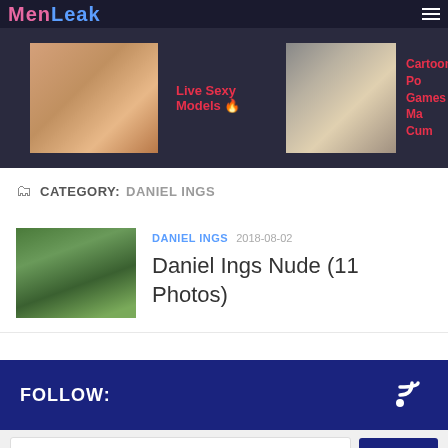MenLeak
[Figure (photo): Website banner area with two adult content advertisement images and text links: 'Live Sexy Models' and 'Cartoon Porn Games Make You Cum']
CATEGORY: DANIEL INGS
[Figure (photo): Thumbnail image of a bird in green vegetation]
DANIEL INGS  2018-08-02
Daniel Ings Nude (11 Photos)
FOLLOW:
Search ...